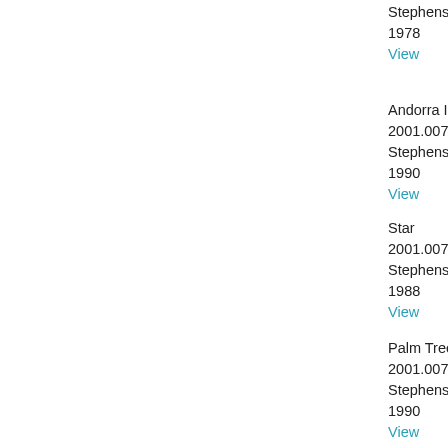Stephens, Anait
1978
View
Andorra I
2001.007.365
Stephens, Anait
1990
View
Star
2001.007.366
Stephens, Anait
1988
View
Palm Tree
2001.007.367
Stephens, Anait
1990
View
Dark Over Light
2001.007.368
Stephens, Anait
1977